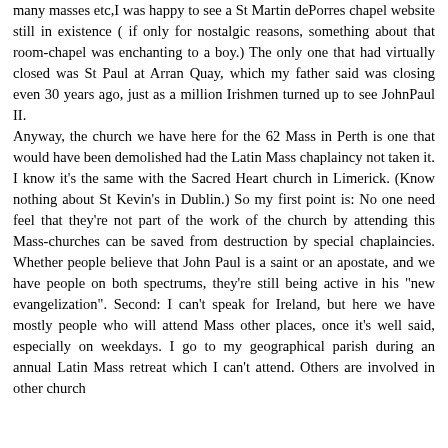many masses etc,I was happy to see a St Martin dePorres chapel website still in existence ( if only for nostalgic reasons, something about that room-chapel was enchanting to a boy.) The only one that had virtually closed was St Paul at Arran Quay, which my father said was closing even 30 years ago, just as a million Irishmen turned up to see JohnPaul II. Anyway, the church we have here for the 62 Mass in Perth is one that would have been demolished had the Latin Mass chaplaincy not taken it. I know it's the same with the Sacred Heart church in Limerick. (Know nothing about St Kevin's in Dublin.) So my first point is: No one need feel that they're not part of the work of the church by attending this Mass-churches can be saved from destruction by special chaplaincies. Whether people believe that John Paul is a saint or an apostate, and we have people on both spectrums, they're still being active in his "new evangelization". Second: I can't speak for Ireland, but here we have mostly people who will attend Mass other places, once it's well said, especially on weekdays. I go to my geographical parish during an annual Latin Mass retreat which I can't attend. Others are involved in other church